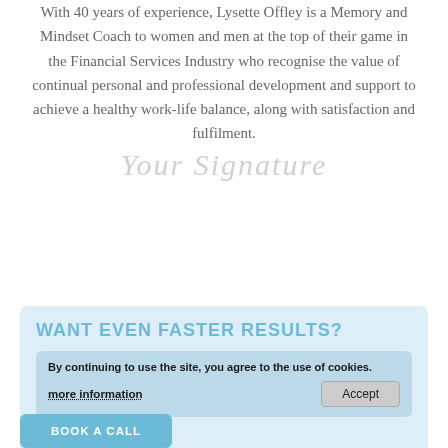With 40 years of experience, Lysette Offley is a Memory and Mindset Coach to women and men at the top of their game in the Financial Services Industry who recognise the value of continual personal and professional development and support to achieve a healthy work-life balance, along with satisfaction and fulfilment.
[Figure (other): Cursive script watermark reading 'Your Signature' in light grey]
WANT EVEN FASTER RESULTS?
By continuing to use the site, you agree to the use of cookies.
Want to work with me...
more information
Accept
BOOK A CALL